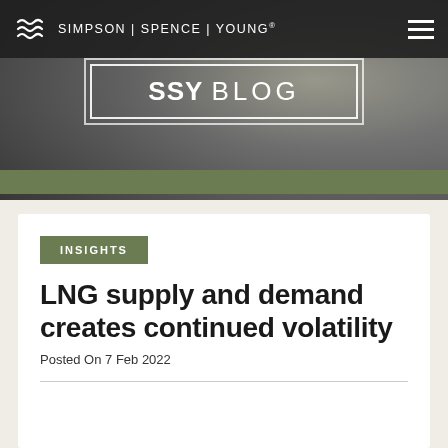SIMPSON | SPENCE | YOUNG®
[Figure (screenshot): SSY Blog banner over dark background photo of a person at a desk]
INSIGHTS
LNG supply and demand creates continued volatility
Posted On 7 Feb 2022